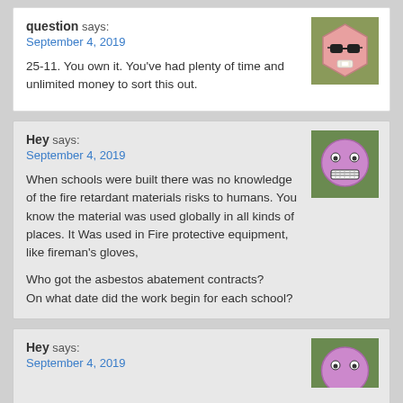question says:
September 4, 2019
25-11. You own it. You've had plenty of time and unlimited money to sort this out.
[Figure (illustration): Avatar: pink hexagon shape with sunglasses and a bandage, on olive/green background]
Hey says:
September 4, 2019
When schools were built there was no knowledge of the fire retardant materials risks to humans. You know the material was used globally in all kinds of places. It Was used in Fire protective equipment, like fireman's gloves,

Who got the asbestos abatement contracts?
On what date did the work begin for each school?
[Figure (illustration): Avatar: purple/pink round emoji face with grimace expression, on green background]
Hey says:
September 4, 2019
[Figure (illustration): Avatar: purple/pink round emoji face, partially visible, on green background]